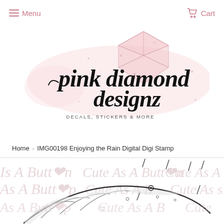Menu  Cart
[Figure (logo): Pink Diamond Designz logo — script text reading 'pink diamond designz' with a rose-gold diamond gem illustration above, and subtitle 'DECALS, STICKERS & MORE']
Home › IMG00198 Enjoying the Rain Digital Digi Stamp
[Figure (illustration): Partial product preview image of a cute umbrella digi stamp with watermark text repeating 'Cute As A Button' and 'Is A Button' in light pink/grey across the image]